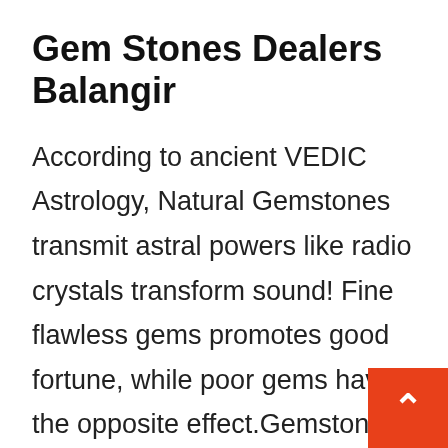Gem Stones Dealers Balangir
According to ancient VEDIC Astrology, Natural Gemstones transmit astral powers like radio crystals transform sound! Fine flawless gems promotes good fortune, while poor gems have the opposite effect.Gemstones strenghten planetary powers and will boost their specific influences in three ways. First way is by adding 'cosmic color' to one's own aura. The second